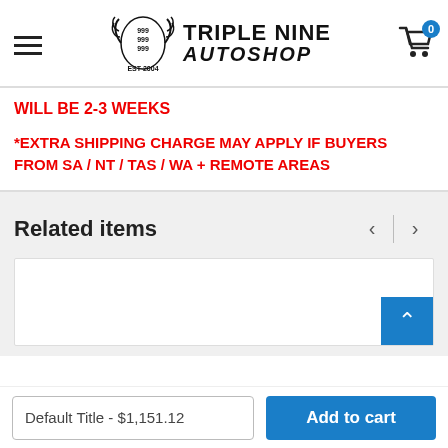[Figure (logo): Triple Nine Autoshop logo with hamburger menu icon on left and shopping cart icon with badge '0' on right]
WILL BE 2-3 WEEKS
*EXTRA SHIPPING CHARGE MAY APPLY IF BUYERS FROM SA / NT / TAS / WA + REMOTE AREAS
Related items
[Figure (other): Product card placeholder with scroll-to-top blue button]
Default Title - $1,151.12
Add to cart